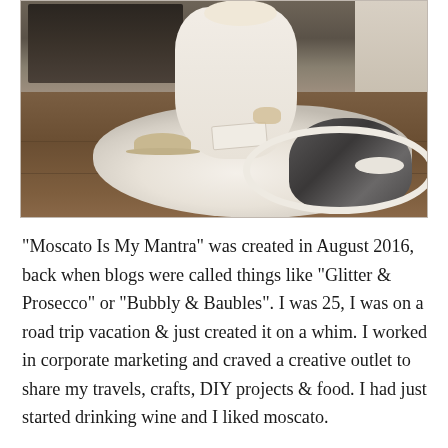[Figure (photo): A person in white clothing sitting on the floor near a fireplace, wrapped in a white fringed blanket, holding a book and a drink, with a gray and white dog lying beside them in a round dog bed.]
“Moscato Is My Mantra” was created in August 2016, back when blogs were called things like “Glitter & Prosecco” or “Bubbly & Baubles”. I was 25, I was on a road trip vacation & just created it on a whim. I worked in corporate marketing and craved a creative outlet to share my travels, crafts, DIY projects & food. I had just started drinking wine and I liked moscato.